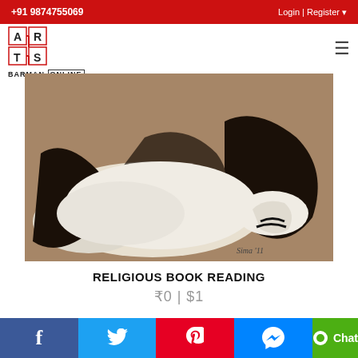+91 9874755069  Login | Register
[Figure (logo): Arts Barman Online logo with staircase design in red and black]
[Figure (photo): Close-up painting of white and black animal (possibly a tiger or cat) lying down, oil painting style on warm brown background]
RELIGIOUS BOOK READING
₹0 | $1
[Figure (photo): Partial image with teal/green background and white rounded shapes visible at bottom of page]
f  Twitter  Pinterest  Messenger  Chat